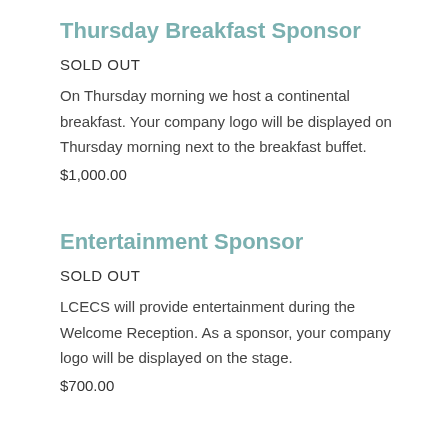Thursday Breakfast Sponsor
SOLD OUT
On Thursday morning we host a continental breakfast. Your company logo will be displayed on Thursday morning next to the breakfast buffet.
$1,000.00
Entertainment Sponsor
SOLD OUT
LCECS will provide entertainment during the Welcome Reception. As a sponsor, your company logo will be displayed on the stage.
$700.00